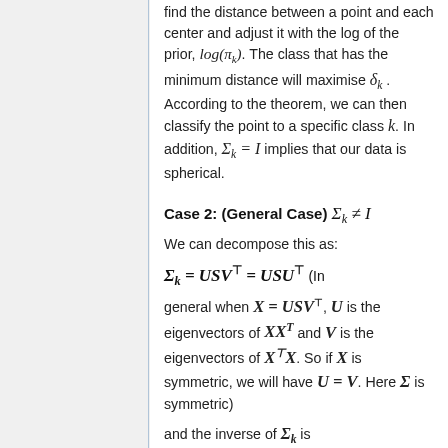find the distance between a point and each center and adjust it with the log of the prior, log(π_k). The class that has the minimum distance will maximise δ_k. According to the theorem, we can then classify the point to a specific class k. In addition, Σ_k = I implies that our data is spherical.
Case 2: (General Case) Σ_k ≠ I
We can decompose this as:
(In general when X = USV^T, U is the eigenvectors of XX^T and V is the eigenvectors of X^T X. So if X is symmetric, we will have U = V. Here Σ is symmetric)
and the inverse of Σ_k is